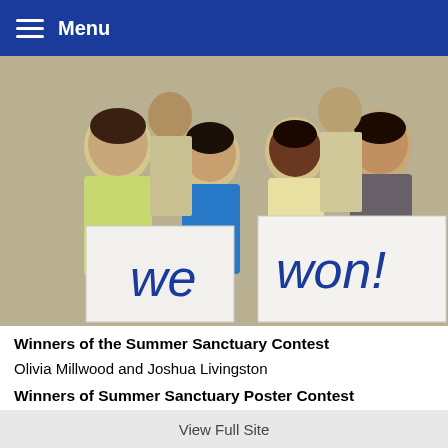Menu
[Figure (photo): Group of children holding signs that read 'we won!']
Winners of the Summer Sanctuary Contest
Olivia Millwood and Joshua Livingston
Winners of Summer Sanctuary Poster Contest
Ethan Obisesan
Rocio Serrano
Daileen Nativi
Gisell Mancia
View Full Site